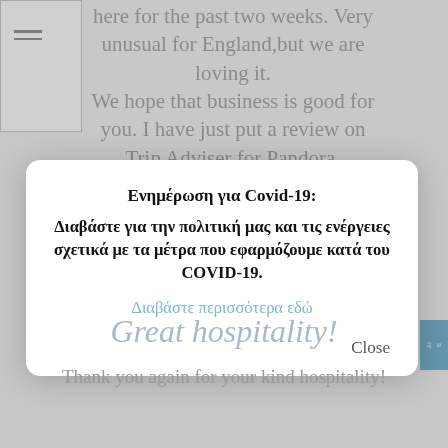here for the past two weeks. Very unusual for England,but we are loving it. We hope that business is good for you. I have just put a review on Trip Adviser for Pandora.
[Figure (screenshot): A modal/popup dialog with Covid-19 information in Greek, overlaying a webpage. The modal contains a title 'Ενημέρωση για Covid-19:', body text in Greek about reading their policy and measures for COVID-19, a blue link 'Διαβάστε περισσότερα εδώ', and a Close button.]
Great hospitality!
Thank you again for your kind hospitality!